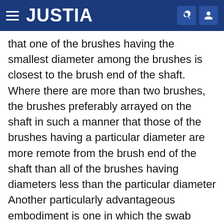JUSTIA
that one of the brushes having the smallest diameter among the brushes is closest to the brush end of the shaft. Where there are more than two brushes, the brushes preferably arrayed on the shaft in such a manner that those of the brushes having a particular diameter are more remote from the brush end of the shaft than all of the brushes having diameters less than the particular diameter Another particularly advantageous embodiment is one in which the swab includes a portion with a tapered diameter, and the smallest-diameter portion of the swab is closer to the brush end of the shaft than that portion of the swab having the maximum diameter. In this avatar, the preferred shaft includes a metallic inner portion or core, surrounded by a polymeric tube, which may be, for example, polyethylene.